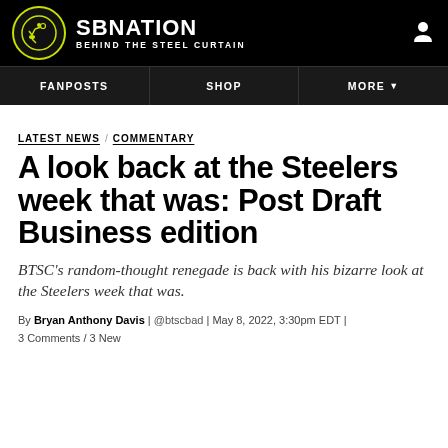SB NATION / BEHIND THE STEEL CURTAIN
FANPOSTS  SHOP  MORE
LATEST NEWS  COMMENTARY
A look back at the Steelers week that was: Post Draft Business edition
BTSC's random-thought renegade is back with his bizarre look at the Steelers week that was.
By Bryan Anthony Davis | @btscbad | May 8, 2022, 3:30pm EDT | 3 Comments / 3 New